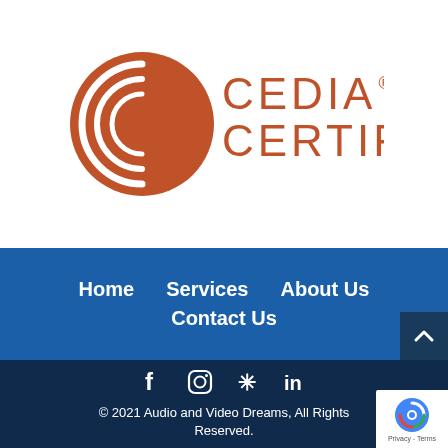[Figure (logo): CEDIA Certified logo: orange circle with stylized C on left, and text CEDIA CERTIFIED in orange on right]
Home   Services   About Us   Contact Us
[Figure (infographic): Social media icons row: Facebook, Instagram, Yelp, LinkedIn in white on dark navy background]
© 2021 Audio and Video Dreams, All Rights Reserved.
[Figure (other): reCAPTCHA badge with Privacy - Terms text]